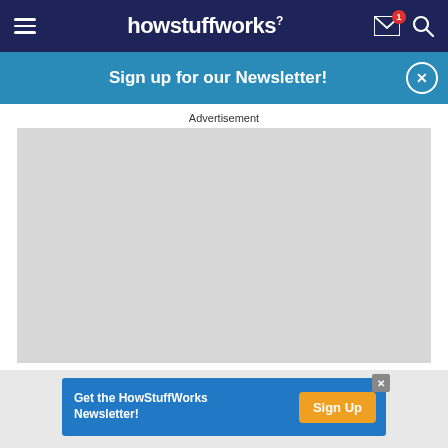howstuffworks
Sign up for our Newsletter!
Advertisement
[Figure (other): Gray advertisement placeholder box]
Get the HowStuffWorks Newsletter! Sign Up